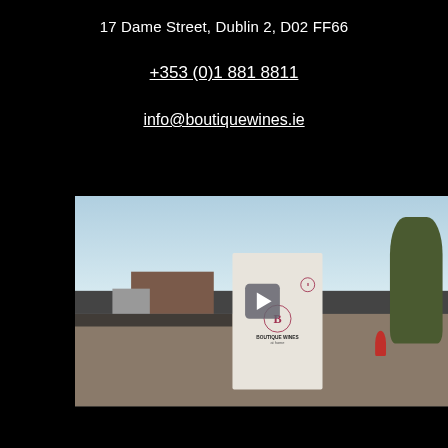17 Dame Street, Dublin 2, D02 FF66
+353 (0)1 881 8811
info@boutiquewines.ie
[Figure (photo): Video thumbnail showing a riverside quay scene in Dublin with a Boutique Wines at Home box prominently displayed in the center, a play button overlay, buildings in the background, trees on the right, and a person in a red jacket walking on the right side.]